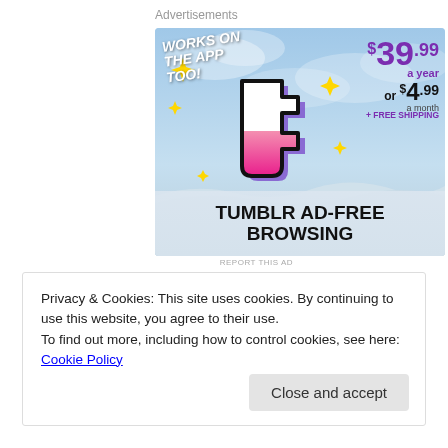Advertisements
[Figure (illustration): Tumblr Ad-Free Browsing advertisement. Shows the Tumblr logo (stylized 't' in pink/purple/white with black outline) surrounded by yellow sparkle stars on a sky-blue cloudy background. Text reads 'WORKS ON THE APP TOO!' in white italic. Pricing shown: $39.99 a year or $4.99 a month + FREE SHIPPING. Bottom banner reads 'TUMBLR AD-FREE BROWSING' in bold black text.]
REPORT THIS AD
Privacy & Cookies: This site uses cookies. By continuing to use this website, you agree to their use.
To find out more, including how to control cookies, see here: Cookie Policy
Close and accept